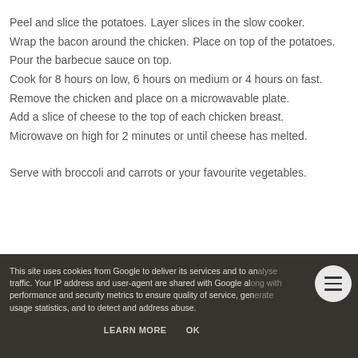Peel and slice the potatoes.
Layer slices in the slow cooker.
Wrap the bacon around the chicken.
Place on top of the potatoes.
Pour the barbecue sauce on top.
Cook for 8 hours on low, 6 hours on medium or 4 hours on fast.
Remove the chicken and place on a microwavable plate.
Add a slice of cheese to the top of each chicken breast.
Microwave on high for 2 minutes or until cheese has melted.
Serve with broccoli and carrots or your favourite vegetables.
This site uses cookies from Google to deliver its services and to analyse traffic. Your IP address and user-agent are shared with Google along with performance and security metrics to ensure quality of service, generate usage statistics, and to detect and address abuse.
LEARN MORE    OK